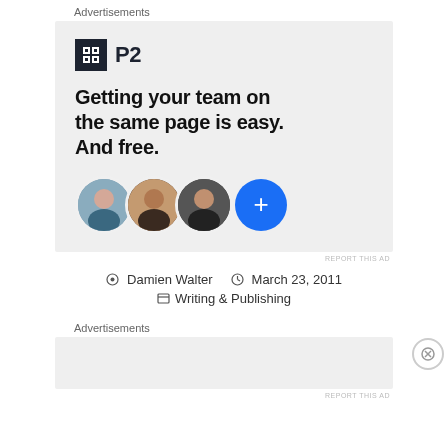Advertisements
[Figure (infographic): P2 advertisement with logo, tagline 'Getting your team on the same page is easy. And free.' and three user avatar circles plus a blue plus button]
REPORT THIS AD
Damien Walter   March 23, 2011
Writing & Publishing
Advertisements
REPORT THIS AD